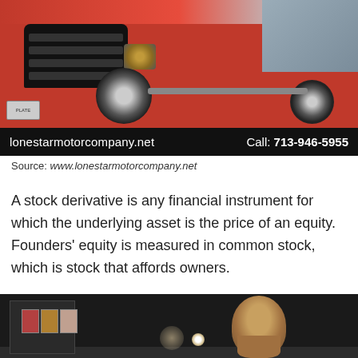[Figure (photo): A red pickup truck (Ford F-150 style) photographed from the front-left angle in a parking lot. Black banner at the bottom shows: lonestarmotorcompany.net and Call: 713-946-5955]
Source: www.lonestarmotorcompany.net
A stock derivative is any financial instrument for which the underlying asset is the price of an equity. Founders' equity is measured in common stock, which is stock that affords owners.
[Figure (photo): Dark interior room photo showing framed artwork/posters on the left wall and a bronze/brown sculptural bust of a face/skull on the right, with a spotlight on the floor.]